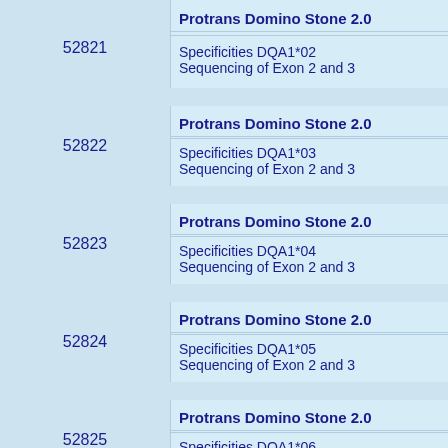| Code | Product | Description |
| --- | --- | --- |
| 52821 | Protrans Domino Stone 2.0 | Specificities DQA1*02
Sequencing of Exon 2 and 3 |
| 52822 | Protrans Domino Stone 2.0 | Specificities DQA1*03
Sequencing of Exon 2 and 3 |
| 52823 | Protrans Domino Stone 2.0 | Specificities DQA1*04
Sequencing of Exon 2 and 3 |
| 52824 | Protrans Domino Stone 2.0 | Specificities DQA1*05
Sequencing of Exon 2 and 3 |
| 52825 | Protrans Domino Stone 2.0 | Specificities DQA1*06
Sequencing of Exon 2 and 3 |